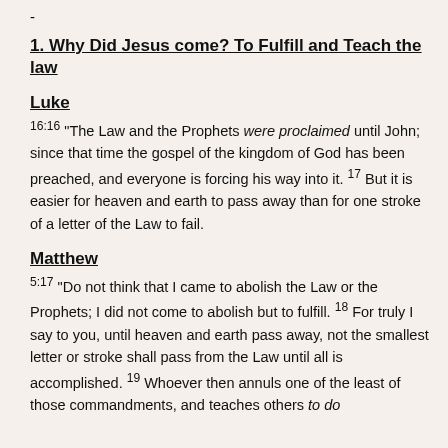-
1. Why Did Jesus come? To Fulfill and Teach the law
Luke
16:16 “The Law and the Prophets were proclaimed until John; since that time the gospel of the kingdom of God has been preached, and everyone is forcing his way into it. 17 But it is easier for heaven and earth to pass away than for one stroke of a letter of the Law to fail.
Matthew
5:17 “Do not think that I came to abolish the Law or the Prophets; I did not come to abolish but to fulfill. 18 For truly I say to you, until heaven and earth pass away, not the smallest letter or stroke shall pass from the Law until all is accomplished. 19 Whoever then annuls one of the least of those commandments, and teaches others to do